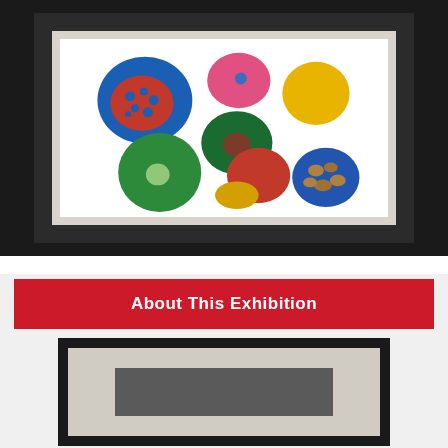[Figure (photo): A framed children's painting displayed on a dark wall. The painting features colorful flowers and floral shapes on a white background, including blue, red, green, yellow, and pink flowers with small scattered petal shapes throughout.]
About This Exhibition
[Figure (photo): A framed artwork displayed on a light background, partially visible at the bottom of the page. The frame is dark/black with a light mat and a darker inner frame element visible.]